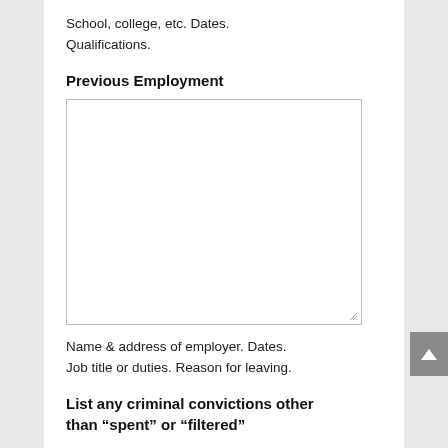School, college, etc. Dates.
Qualifications.
Previous Employment
[Figure (other): Empty textarea input box for previous employment details, with resize handle at bottom right corner.]
Name & address of employer. Dates.
Job title or duties. Reason for leaving.
List any criminal convictions other than “spent” or “filtered”